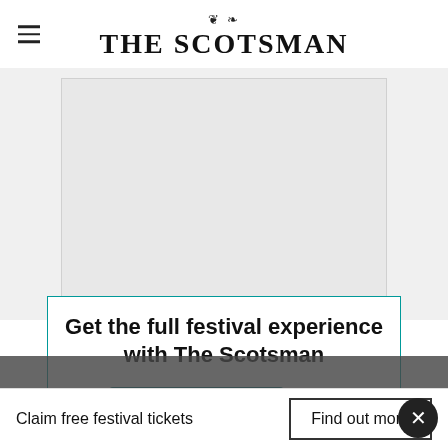THE SCOTSMAN
[Figure (other): Large grey advertisement placeholder block]
Get the full festival experience with The Scotsman
[Figure (photo): Teal/dark The Scotsman branded festival tickets with 'Claim your free' text visible]
Claim free festival tickets
Find out more